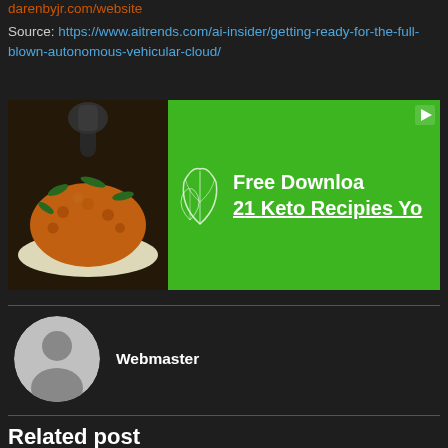darenbyjr.com/website
Source: https://www.aitrends.com/ai-insider/getting-ready-for-the-full-blown-autonomous-vehicular-cloud/
[Figure (photo): Advertisement banner showing a food dish on the left and green background with text 'Free Download 21 Keto Recipies Yo' on the right, with a play icon in the top right corner and a leaf illustration.]
Webmaster
Related post